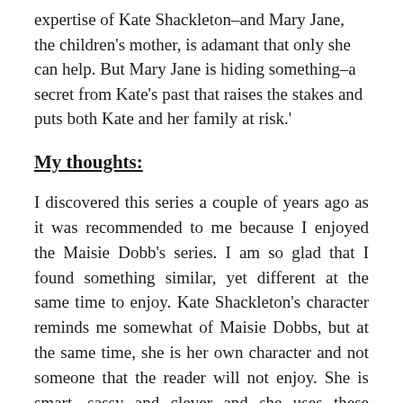expertise of Kate Shackleton–and Mary Jane, the children's mother, is adamant that only she can help. But Mary Jane is hiding something–a secret from Kate's past that raises the stakes and puts both Kate and her family at risk.'
My thoughts:
I discovered this series a couple of years ago as it was recommended to me because I enjoyed the Maisie Dobb's series. I am so glad that I found something similar, yet different at the same time to enjoy. Kate Shackleton's character reminds me somewhat of Maisie Dobbs, but at the same time, she is her own character and not someone that the reader will not enjoy. She is smart, sassy and clever and she uses these talents to help solve mysteries. However, this